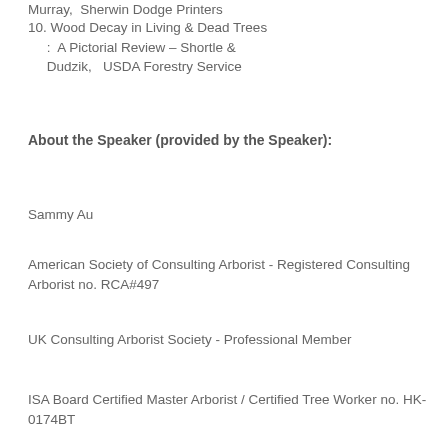Murray,  Sherwin Dodge Printers
10. Wood Decay in Living & Dead Trees :  A Pictorial Review – Shortle & Dudzik,   USDA Forestry Service
About the Speaker (provided by the Speaker):
Sammy Au
American Society of Consulting Arborist - Registered Consulting Arborist no. RCA#497
UK Consulting Arborist Society - Professional Member
ISA Board Certified Master Arborist / Certified Tree Worker no. HK-0174BT